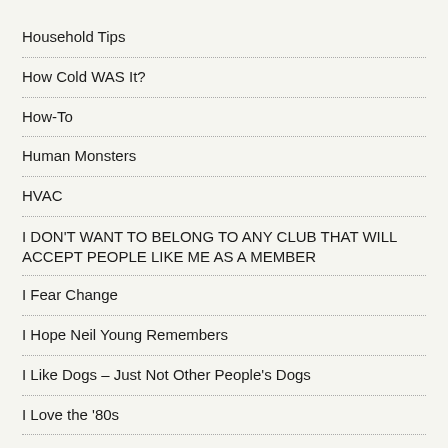Household Tips
How Cold WAS It?
How-To
Human Monsters
HVAC
I DON'T WANT TO BELONG TO ANY CLUB THAT WILL ACCEPT PEOPLE LIKE ME AS A MEMBER
I Fear Change
I Hope Neil Young Remembers
I Like Dogs – Just Not Other People's Dogs
I Love the '80s